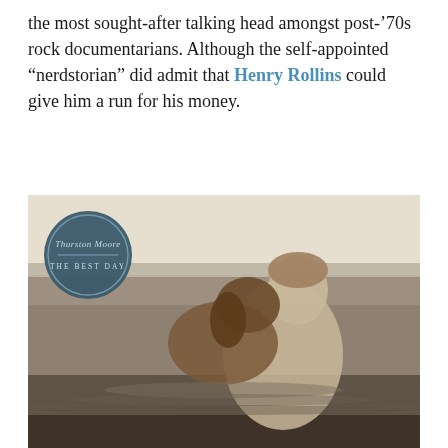the most sought-after talking head amongst post-'70s rock documentarians. Although the self-appointed “nerdstorian” did admit that Henry Rollins could give him a run for his money.
[Figure (photo): Black and white vintage photograph of a woman holding a dog (collie/border collie type) while standing in water up to her chest. The woman has her hair pinned up and appears to be smiling. Overlaid in the upper left corner is a circular dark teal/navy badge with italic text 'Thurston Moore' and below a horizontal line 'THE BEST DAY'.]